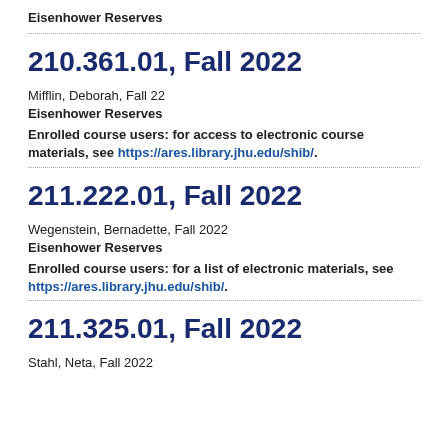Eisenhower Reserves
210.361.01, Fall 2022
Mifflin, Deborah, Fall 22
Eisenhower Reserves
Enrolled course users: for access to electronic course materials, see https://ares.library.jhu.edu/shib/.
211.222.01, Fall 2022
Wegenstein, Bernadette, Fall 2022
Eisenhower Reserves
Enrolled course users: for a list of electronic materials, see https://ares.library.jhu.edu/shib/.
211.325.01, Fall 2022
Stahl, Neta, Fall 2022